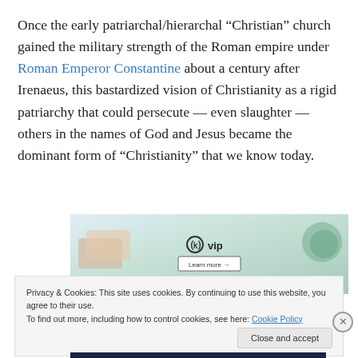Once the early patriarchal/hierarchal “Christian” church gained the military strength of the Roman empire under Roman Emperor Constantine about a century after Irenaeus, this bastardized vision of Christianity as a rigid patriarchy that could persecute — even slaughter — others in the names of God and Jesus became the dominant form of “Christianity” that we know today.
[Figure (screenshot): WordPress VIP advertisement banner with colorful background showing cards/tiles and a 'Learn more' button]
Privacy & Cookies: This site uses cookies. By continuing to use this website, you agree to their use.
To find out more, including how to control cookies, see here: Cookie Policy
Close and accept